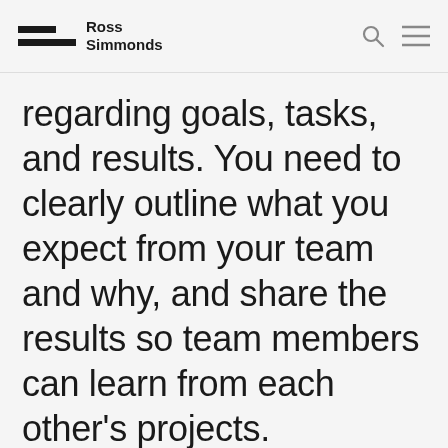Ross Simmonds
regarding goals, tasks, and results. You need to clearly outline what you expect from your team and why, and share the results so team members can learn from each other's projects.
Transparency can be facilitated in many ways. For your company, maybe it's a Trello board that shows the progress of current projects, or maybe it's a shared report that automatically pulls in data to